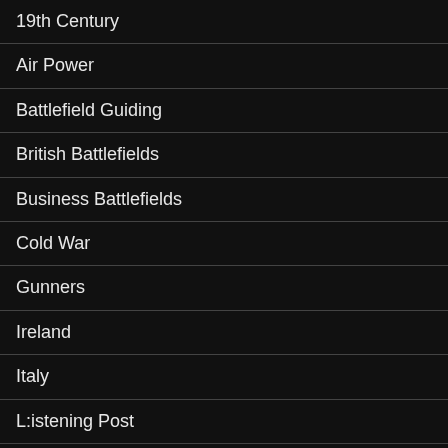19th Century
Air Power
Battlefield Guiding
British Battlefields
Business Battlefields
Cold War
Gunners
Ireland
Italy
L:istening Post
Listening Post
Medieval
Military History